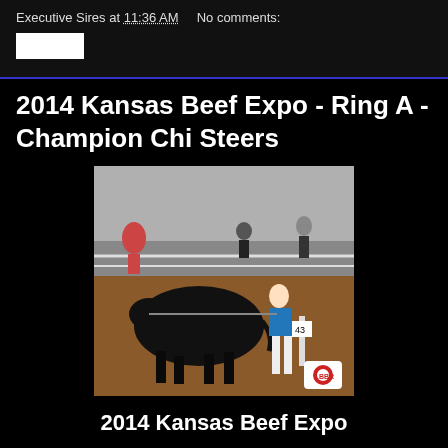Executive Sires at 11:36 AM   No comments:
2014 Kansas Beef Expo - Ring A - Champion Chi Steers
[Figure (photo): A black steer being shown by a girl in a blue top and jeans in an indoor livestock show arena. A number tag '43' is visible on a post in the background. A logo/watermark appears in the lower right.]
2014 Kansas Beef Expo